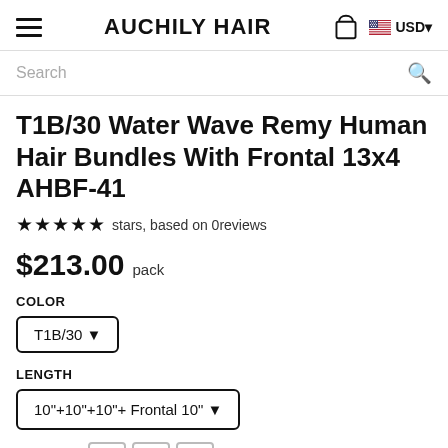AUCHILY HAIR
Search
T1B/30 Water Wave Remy Human Hair Bundles With Frontal 13x4 AHBF-41
★★★★★ stars, based on 0reviews
$213.00  pack
COLOR
T1B/30 ▾
LENGTH
10"+10"+10"+ Frontal 10" ▾
Quantity:  1  100 items available